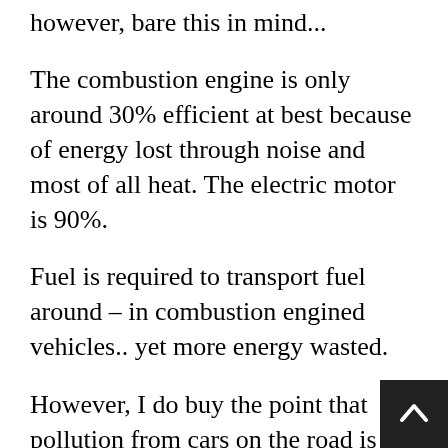however, bare this in mind...
The combustion engine is only around 30% efficient at best because of energy lost through noise and most of all heat. The electric motor is 90%.
Fuel is required to transport fuel around – in combustion engined vehicles.. yet more energy wasted.
However, I do buy the point that pollution from cars on the road is heavily regulated and that the amount of carbon given off is much lower per car than if the power station was providing the electric. There